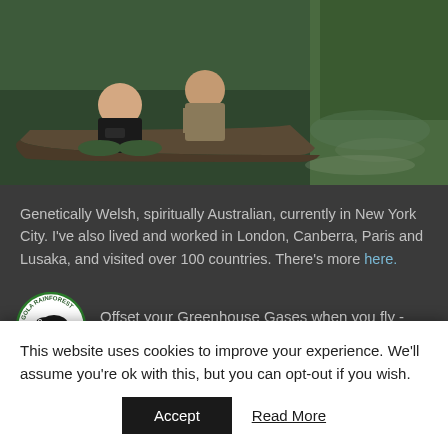[Figure (photo): Two people sitting in a wooden canoe on a calm river or waterway surrounded by lush green vegetation. One person in black shirt holds binoculars.]
Genetically Welsh, spiritually Australian, currently in New York City. I've also lived and worked in London, Canberra, Paris and Lusaka, and visited over 100 countries. There's more here.
[Figure (logo): Gola Rainforest circular logo with a hornbill bird illustration and 'GOLA RAINFOREST' text around the border.]
Offset your Greenhouse Gases when you fly - and protect Gola Rainforest
This website uses cookies to improve your experience. We'll assume you're ok with this, but you can opt-out if you wish.
Accept
Read More